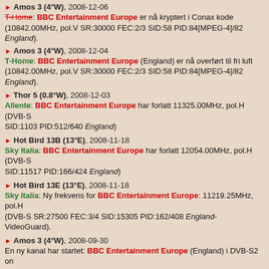Amos 3 (4°W), 2008-12-06
T-Home: BBC Entertainment Europe er nå kryptert i Conax kode (10842.00MHz, pol.V SR:30000 FEC:2/3 SID:58 PID:84[MPEG-4]/82 England).
Amos 3 (4°W), 2008-12-04
T-Home: BBC Entertainment Europe (England) er nå overført til fri luft (10842.00MHz, pol.V SR:30000 FEC:2/3 SID:58 PID:84[MPEG-4]/82 England).
Thor 5 (0.8°W), 2008-12-03
Allente: BBC Entertainment Europe har forlatt 11325.00MHz, pol.H (DVB-S SID:1103 PID:512/640 England)
Hot Bird 13B (13°E), 2008-11-18
Sky Italia: BBC Entertainment Europe har forlatt 12054.00MHz, pol.H (DVB-S SID:11517 PID:166/424 England)
Hot Bird 13E (13°E), 2008-11-18
Sky Italia: Ny frekvens for BBC Entertainment Europe: 11219.25MHz, pol.H (DVB-S SR:27500 FEC:3/4 SID:15305 PID:162/408 England- VideoGuard).
Amos 3 (4°W), 2008-09-30
En ny kanal har startet: BBC Entertainment Europe (England) i DVB-S2 on 10842.00MHz, pol.V SR:30000 FEC:2/3 SID:57 PID:89[MPEG-4]/87 England - Conax.
Intelsat 10 (IS-10), 2008-09-01
Multichoice Africa: BBC Entertainment Europe har forlatt 3716.00MHz, pol.V (DVB-S SID:670 PID:3004/4004 England)
Eutelsat 33D, 2008-06-02
TPS: BBC Entertainment Europe er nå kryptert i TPScrypt & Viaccess 2.5 kode (11117.00MHz, pol.V SR:27500 FEC:3/4 SID:14601 PID:6001/6011 England).
Eutelsat 33D, 2008-06-01